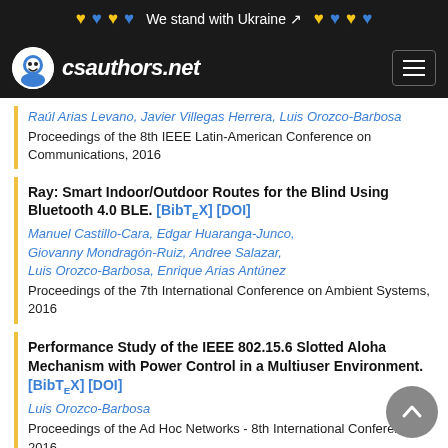We stand with Ukraine — csauthors.net
Raúl Arias Levano, Javier Villegas Herrera, Luis Orozco-Barbosa
Proceedings of the 8th IEEE Latin-American Conference on Communications, 2016
Ray: Smart Indoor/Outdoor Routes for the Blind Using Bluetooth 4.0 BLE. [BibTeX] [DOI]
Manuel Castillo-Cara, Edgar Huaranga-Junco, Giovanny Mondragón-Ruiz, Andree Salazar, Luis Orozco-Barbosa, Enrique Arias Antúnez
Proceedings of the 7th International Conference on Ambient Systems, 2016
Performance Study of the IEEE 802.15.6 Slotted Aloha Mechanism with Power Control in a Multiuser Environment. [BibTeX] [DOI]
Luis Orozco-Barbosa
Proceedings of the Ad Hoc Networks - 8th International Conference, 2016